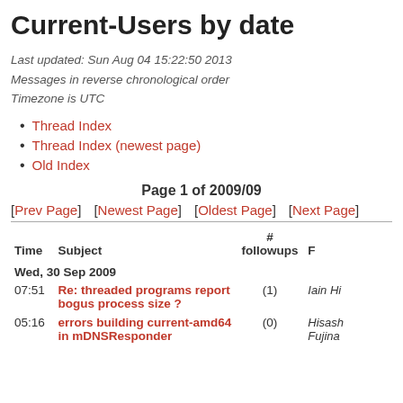Current-Users by date
Last updated: Sun Aug 04 15:22:50 2013
Messages in reverse chronological order
Timezone is UTC
Thread Index
Thread Index (newest page)
Old Index
Page 1 of 2009/09
[Prev Page]   [Newest Page] [Oldest Page]   [Next Page]
| Time | Subject | # followups | F |
| --- | --- | --- | --- |
| Wed, 30 Sep 2009 |  |  |  |
| 07:51 | Re: threaded programs report bogus process size ? | (1) | Iain Hi |
| 05:16 | errors building current-amd64 in mDNSResponder | (0) | Hisash Fujina |